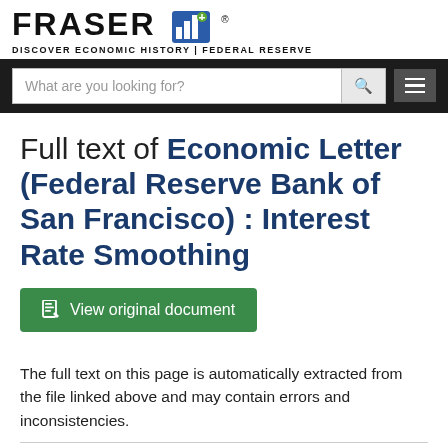FRASER DISCOVER ECONOMIC HISTORY | FEDERAL RESERVE
Full text of Economic Letter (Federal Reserve Bank of San Francisco) : Interest Rate Smoothing
View original document
The full text on this page is automatically extracted from the file linked above and may contain errors and inconsistencies.